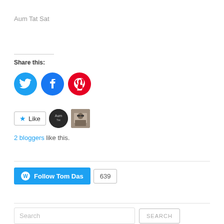Aum Tat Sat
Share this:
[Figure (infographic): Three social media share buttons: Twitter (blue circle), Facebook (blue circle), Pinterest (red circle)]
[Figure (infographic): Like button with star icon, two blogger avatars]
2 bloggers like this.
[Figure (infographic): Follow Tom Das button with WordPress logo and follower count 639]
[Figure (infographic): Search input field and SEARCH button]